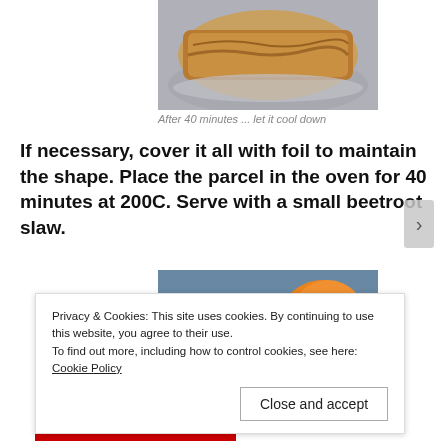[Figure (photo): Top portion of a baked pastry parcel on a round metal tray, viewed from above]
After 40 minutes ... let it cool down
If necessary, cover it all with foil to maintain the shape. Place the parcel in the oven for 40 minutes at 200C. Serve with a small beetroot slaw.
[Figure (photo): A plate with shredded carrot, cauliflower, and beetroot slaw on a blue background]
Privacy & Cookies: This site uses cookies. By continuing to use this website, you agree to their use.
To find out more, including how to control cookies, see here: Cookie Policy
Close and accept